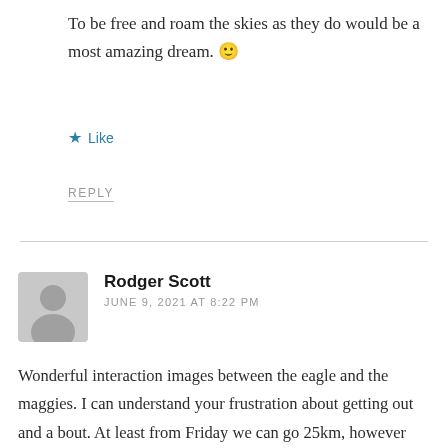To be free and roam the skies as they do would be a most amazing dream. 🙂
★ Like
REPLY
Rodger Scott
JUNE 9, 2021 AT 8:22 PM
Wonderful interaction images between the eagle and the maggies. I can understand your frustration about getting out and a bout. At least from Friday we can go 25km, however I've been happy wandering around Royal Park – for the moment. Ha! I can walk there, as its only 2.5 km from where I live.